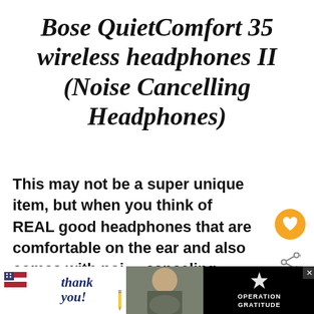Bose QuietComfort 35 wireless headphones II (Noise Cancelling Headphones)
This may not be a super unique item, but when you think of REAL good headphones that are comfortable on the ear and also comes with noise canceling features and minus the
[Figure (screenshot): UI elements: heart/favorite button (orange circle), share button, WHAT'S NEXT panel with thumbnail and text '10 Best Travel Scarves for...', and bottom advertisement banner for Operation Gratitude with 'thank you' text and military photo]